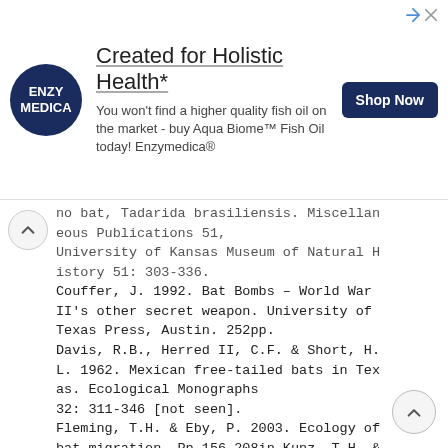[Figure (other): Advertisement banner for Enzymedica Aqua Biome Fish Oil product. Features Enzymedica circular logo (dark navy), headline 'Created for Holistic Health*', body text about fish oil quality, and a 'Shop Now' button.]
no bat, Tadarida brasiliensis. Miscellaneous Publications 51, University of Kansas Museum of Natural History 51: 303-336.
Couffer, J. 1992. Bat Bombs – World War II's other secret weapon. University of Texas Press, Austin. 252pp.
Davis, R.B., Herred II, C.F. & Short, H.L. 1962. Mexican free-tailed bats in Texas. Ecological Monographs 32: 311-346 [not seen].
Fleming, T.H. & Eby, P. 2003. Ecology of bat migration. Pp 156-208in Kunz, T.H. & Fenton, M.B., Bat Ecology. University of Chicago Press, Chicago & London. 779pp.
Glas, B.P. 1982. Seasonal movements of Mexican free-tailed bats Tadarida brasiliensis mexicana banded in the Great Plains. The Southwestern Natu...